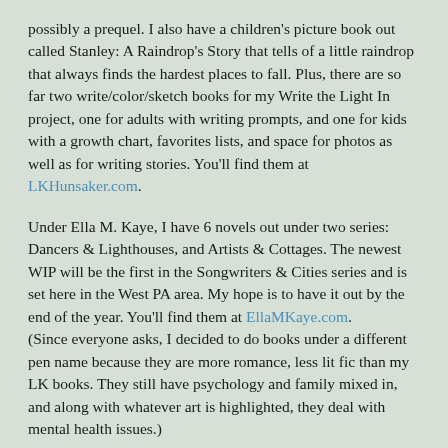possibly a prequel. I also have a children's picture book out called Stanley: A Raindrop's Story that tells of a little raindrop that always finds the hardest places to fall. Plus, there are so far two write/color/sketch books for my Write the Light In project, one for adults with writing prompts, and one for kids with a growth chart, favorites lists, and space for photos as well as for writing stories. You'll find them at LKHunsaker.com.
Under Ella M. Kaye, I have 6 novels out under two series: Dancers & Lighthouses, and Artists & Cottages. The newest WIP will be the first in the Songwriters & Cities series and is set here in the West PA area. My hope is to have it out by the end of the year. You'll find them at EllaMKaye.com. (Since everyone asks, I decided to do books under a different pen name because they are more romance, less lit fic than my LK books. They still have psychology and family mixed in, and along with whatever art is highlighted, they deal with mental health issues.)
Thank you to all for stopping by! Yes, I do tend to be verbose in my books, as well. I like to read fully fleshed stories without a lot of extraneous info and description, so that's how I try to write